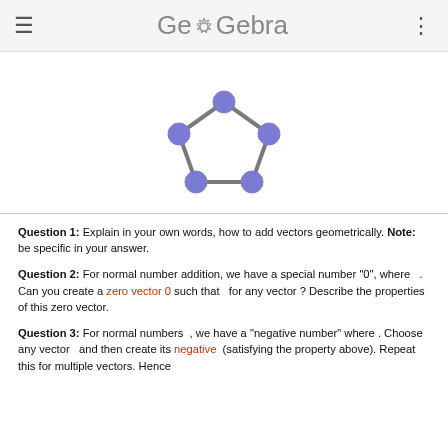GeoGebra
[Figure (illustration): A pentagon shape formed by five blue-purple filled circles connected by gray curved lines, resembling a closed polygon with vertices as dots.]
Question 1: Explain in your own words, how to add vectors geometrically. Note: be specific in your answer.
Question 2: For normal number addition, we have a special number "0", where . Can you create a zero vector 0 such that for any vector ? Describe the properties of this zero vector.
Question 3: For normal numbers , we have a "negative number" where . Choose any vector and then create its negative (satisfying the property above). Repeat this for multiple vectors. Hence